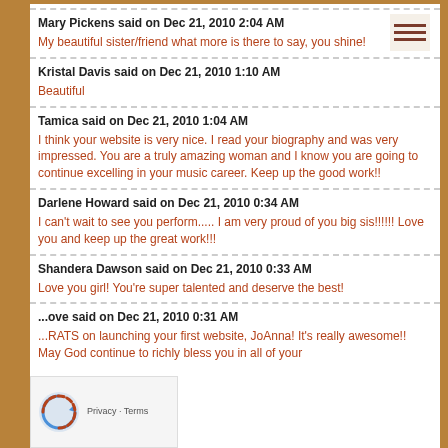Mary Pickens said on Dec 21, 2010 2:04 AM
My beautiful sister/friend what more is there to say, you shine!
Kristal Davis said on Dec 21, 2010 1:10 AM
Beautiful
Tamica said on Dec 21, 2010 1:04 AM
I think your website is very nice. I read your biography and was very impressed. You are a truly amazing woman and I know you are going to continue excelling in your music career. Keep up the good work!!
Darlene Howard said on Dec 21, 2010 0:34 AM
I can't wait to see you perform..... I am very proud of you big sis!!!!!! Love you and keep up the great work!!!
Shandera Dawson said on Dec 21, 2010 0:33 AM
Love you girl! You're super talented and deserve the best!
...ove said on Dec 21, 2010 0:31 AM
...RATS on launching your first website, JoAnna! It's really awesome!! May God continue to richly bless you in all of your